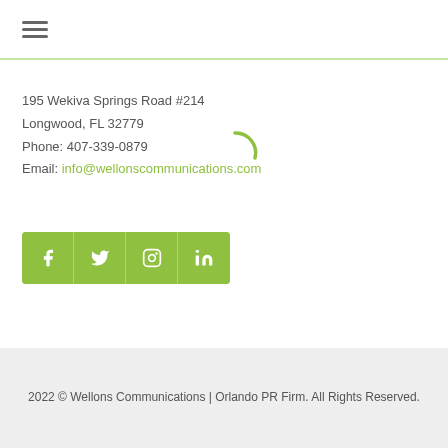[Figure (other): Hamburger menu icon (three horizontal lines)]
195 Wekiva Springs Road #214
Longwood, FL 32779
Phone: 407-339-0879
Email: info@wellonscommunications.com
[Figure (other): Loading spinner arc in light green]
[Figure (other): Social media icon bar with Facebook, Twitter, Instagram, LinkedIn icons on green background]
2022 © Wellons Communications | Orlando PR Firm. All Rights Reserved.